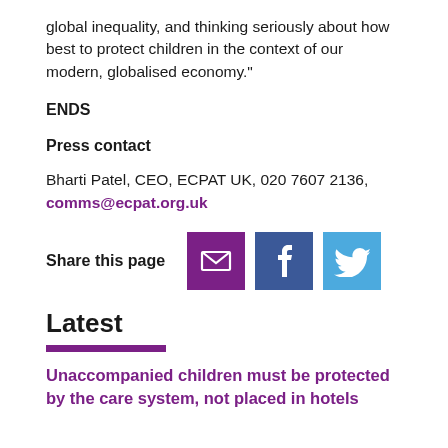global inequality, and thinking seriously about how best to protect children in the context of our modern, globalised economy."
ENDS
Press contact
Bharti Patel, CEO, ECPAT UK, 020 7607 2136, comms@ecpat.org.uk
Share this page
Latest
Unaccompanied children must be protected by the care system, not placed in hotels